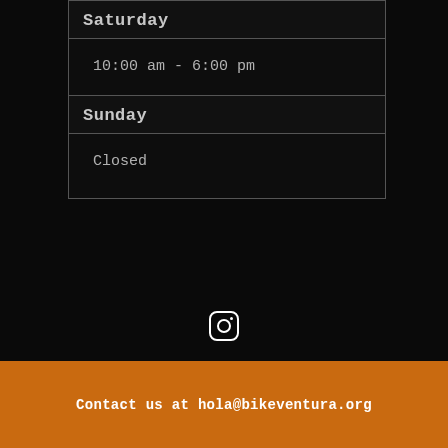| Day | Hours |
| --- | --- |
| Saturday | 10:00 am - 6:00 pm |
| Sunday | Closed |
[Figure (illustration): Instagram icon (rounded square with camera outline) in white on dark background]
Contact us at hola@bikeventura.org